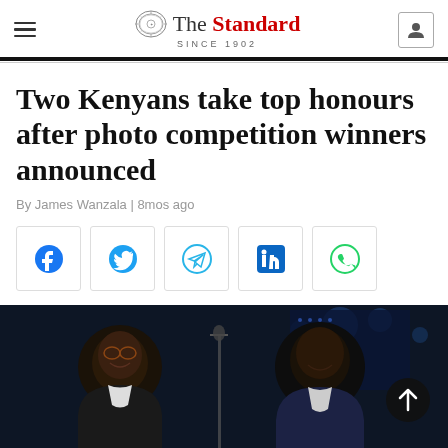The Standard — SINCE 1902
Two Kenyans take top honours after photo competition winners announced
By James Wanzala | 8mos ago
[Figure (other): Social media share buttons: Facebook, Twitter, Telegram, LinkedIn, WhatsApp]
[Figure (photo): Two smiling Kenyan men in suits at an event venue with blue lighting and decorative elements in the background]